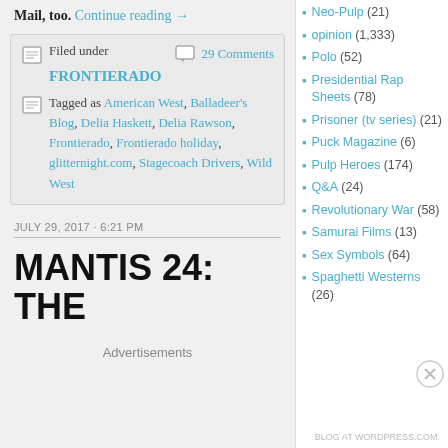Mail, too. Continue reading →
Filed under 29 Comments FRONTIERADO
Tagged as American West, Balladeer's Blog, Delia Haskett, Delia Rawson, Frontierado, Frontierado holiday, glitternight.com, Stagecoach Drivers, Wild West
JULY 29, 2017 · 6:21 PM
MANTIS 24: THE
Advertisements
Neo-Pulp (21)
opinion (1,333)
Polo (52)
Presidential Rap Sheets (78)
Prisoner (tv series) (21)
Puck Magazine (6)
Pulp Heroes (174)
Q&A (24)
Revolutionary War (58)
Samurai Films (13)
Sex Symbols (64)
Spaghetti Westerns (26)